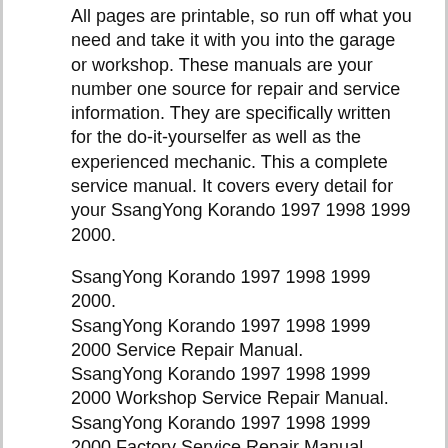All pages are printable, so run off what you need and take it with you into the garage or workshop. These manuals are your number one source for repair and service information. They are specifically written for the do-it-yourselfer as well as the experienced mechanic. This a complete service manual. It covers every detail for your SsangYong Korando 1997 1998 1999 2000.
SsangYong Korando 1997 1998 1999 2000.
SsangYong Korando 1997 1998 1999 2000 Service Repair Manual.
SsangYong Korando 1997 1998 1999 2000 Workshop Service Repair Manual.
SsangYong Korando 1997 1998 1999 2000 Factory Service Repair Manual.
SsangYong Korando 1997 1998 1999 2000 Repair Manual.